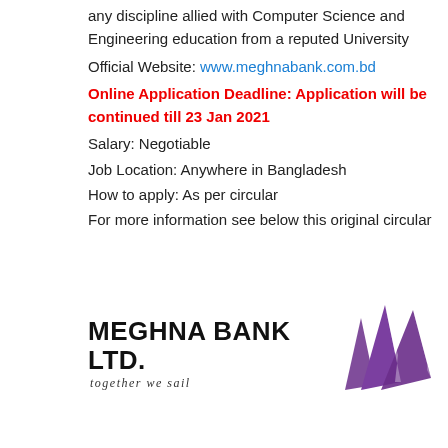any discipline allied with Computer Science and Engineering education from a reputed University
Official Website: www.meghnabank.com.bd
Online Application Deadline: Application will be continued till 23 Jan 2021
Salary: Negotiable
Job Location: Anywhere in Bangladesh
How to apply: As per circular
For more information see below this original circular
[Figure (logo): Meghna Bank Ltd. logo with purple sail icon and tagline 'together we sail']